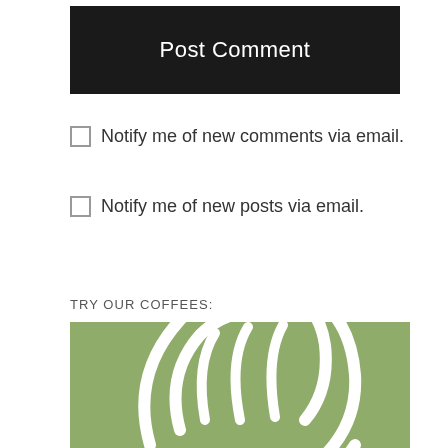[Figure (other): Black 'Post Comment' button with white text]
Notify me of new comments via email.
Notify me of new posts via email.
TRY OUR COFFEES:
[Figure (logo): Green square logo with white stylized coffee bean or leaf circular icon]